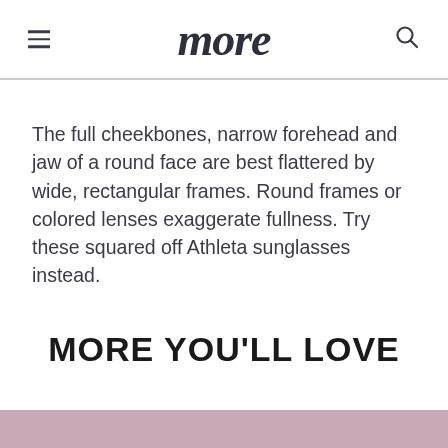more
The full cheekbones, narrow forehead and jaw of a round face are best flattered by wide, rectangular frames. Round frames or colored lenses exaggerate fullness. Try these squared off Athleta sunglasses instead.
MORE YOU'LL LOVE